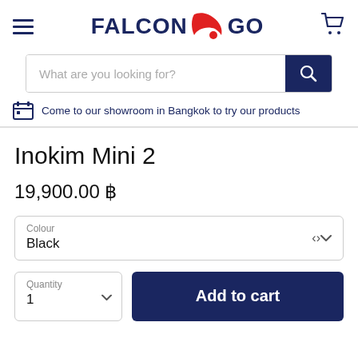[Figure (logo): Falcon Go logo with hamburger menu and cart icon in header]
What are you looking for?
Come to our showroom in Bangkok to try our products
Inokim Mini 2
19,900.00 ฿
Colour
Black
Quantity
1
Add to cart